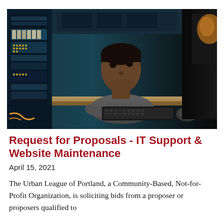[Figure (photo): A person sitting at a computer workstation in a server room, typing on a keyboard, with server racks visible in the background and a large monitor on the right.]
Request for Proposals - IT Support & Website Maintenance
April 15, 2021
The Urban League of Portland, a Community-Based, Not-for-Profit Organization, is soliciting bids from a proposer or proposers qualified to